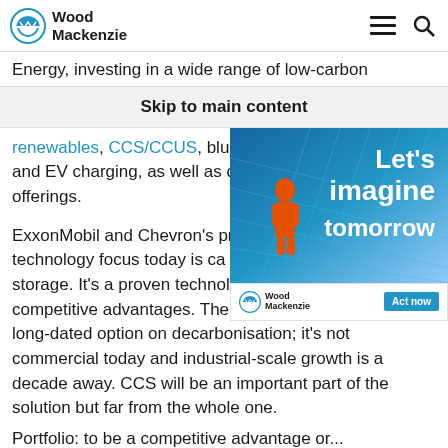Wood Mackenzie
Energy, investing in a wide range of low-carbon
Skip to main content
renewables, CCS/CCUS, blue and green hydrogen and EV charging, as well as developing new offerings.
[Figure (illustration): Advertisement for Wood Mackenzie with text 'Let's imagine tomorrow' over a solar panel background with a worker in orange overalls, and 'Act now' button at the bottom.]
ExxonMobil and Chevron's primary low-carbon technology focus today is carbon capture and storage. It's a proven technology that plays to competitive advantages. The problem is that CCS is a long-dated option on decarbonisation; it's not commercial today and industrial-scale growth is a decade away. CCS will be an important part of the solution but far from the whole one.
Portfolio: to be a competitive advantage or...